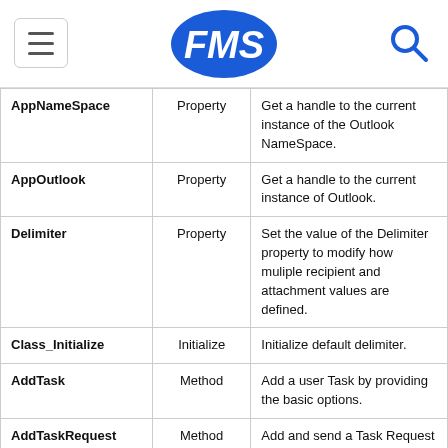FMS
| AppNameSpace | Property | Get a handle to the current instance of the Outlook NameSpace. |
| AppOutlook | Property | Get a handle to the current instance of Outlook. |
| Delimiter | Property | Set the value of the Delimiter property to modify how muliple recipient and attachment values are defined. |
| Class_Initialize | Initialize | Initialize default delimiter. |
| AddTask | Method | Add a user Task by providing the basic options. |
| AddTaskRequest | Method | Add and send a Task Request to one or more |